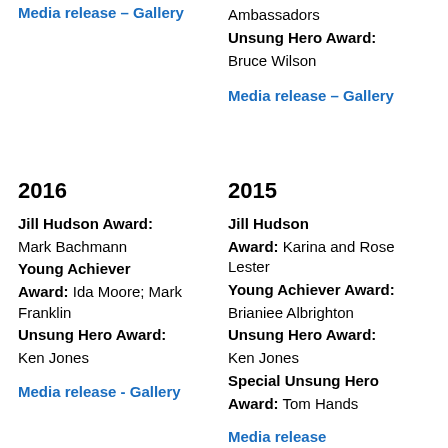Media release – Gallery (top left, blue link)
Ambassadors
Unsung Hero Award: Bruce Wilson
Media release – Gallery (top right, blue link)
2016
2015
Jill Hudson Award: Mark Bachmann
Young Achiever Award: Ida Moore; Mark Franklin
Unsung Hero Award: Ken Jones
Media release - Gallery (2016, blue link)
Jill Hudson Award: Karina and Rose Lester
Young Achiever Award: Brianiee Albrighton
Unsung Hero Award: Ken Jones
Special Unsung Hero Award: Tom Hands
Media release (2015, blue link)